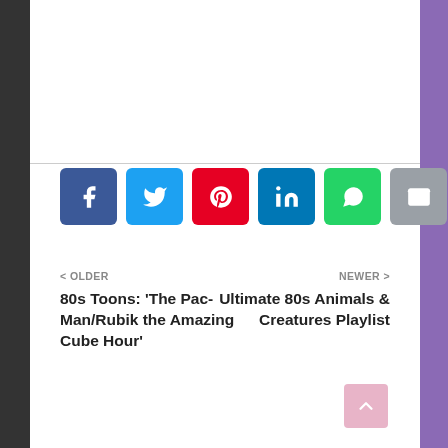[Figure (infographic): Row of six social media share buttons: Facebook (blue), Twitter (light blue), Pinterest (red), LinkedIn (dark blue), WhatsApp (green), Email (gray)]
< OLDER
80s Toons: 'The Pac-Man/Rubik the Amazing Cube Hour'
NEWER >
Ultimate 80s Animals & Creatures Playlist